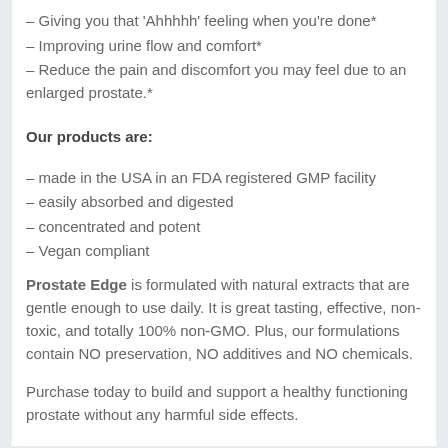– Giving you that 'Ahhhhh' feeling when you're done*
– Improving urine flow and comfort*
– Reduce the pain and discomfort you may feel due to an enlarged prostate.*
Our products are:
– made in the USA in an FDA registered GMP facility
– easily absorbed and digested
– concentrated and potent
– Vegan compliant
Prostate Edge is formulated with natural extracts that are gentle enough to use daily. It is great tasting, effective, non-toxic, and totally 100% non-GMO. Plus, our formulations contain NO preservation, NO additives and NO chemicals.
Purchase today to build and support a healthy functioning prostate without any harmful side effects.